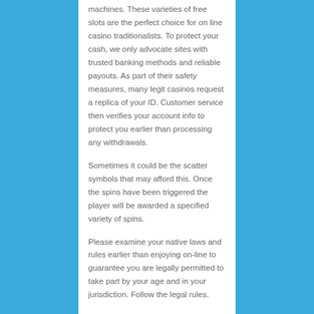machines. These varieties of free slots are the perfect choice for on line casino traditionalists. To protect your cash, we only advocate sites with trusted banking methods and reliable payouts. As part of their safety measures, many legit casinos request a replica of your ID. Customer service then verifies your account info to protect you earlier than processing any withdrawals.
Sometimes it could be the scatter symbols that may afford this. Once the spins have been triggered the player will be awarded a specified variety of spins.
Please examine your native laws and rules earlier than enjoying on-line to guarantee you are legally permitted to take part by your age and in your jurisdiction. Follow the legal rules.